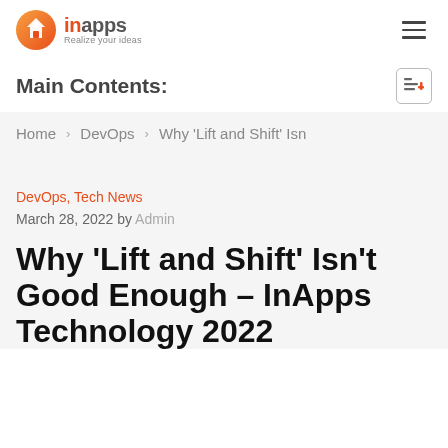inapps – Realize your ideas
Main Contents:
Home > DevOps > Why 'Lift and Shift' Isn…
DevOps, Tech News
March 28, 2022 by Admin
Why 'Lift and Shift' Isn't Good Enough – InApps Technology 2022